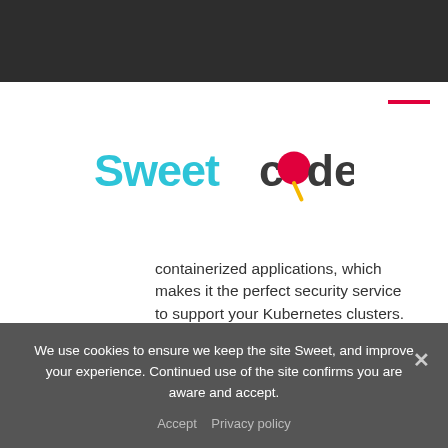[Figure (logo): Sweetcode logo — 'Sweet' in cyan bold text and 'code' in dark grey, with a red/pink lollipop replacing the 'o' in 'code', candy on a yellow stick]
containerized applications, which makes it the perfect security service to support your Kubernetes clusters.
Using RBAC with Conjur
Conjur provides detailed documentation of how to connect
We use cookies to ensure we keep the site Sweet, and improve your experience. Continued use of the site confirms you are aware and accept.
Accept   Privacy policy